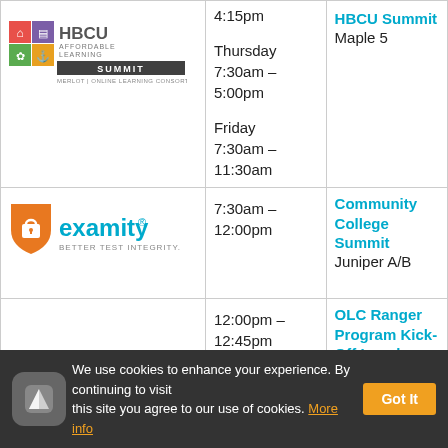| Logo | Time | Event |
| --- | --- | --- |
| HBCU Affordable Learning Summit (logo) | 4:15pm

Thursday 7:30am – 5:00pm

Friday 7:30am – 11:30am | HBCU Summit
Maple 5 |
| examity BETTER TEST INTEGRITY. (logo) | 7:30am – 12:00pm | Community College Summit
Juniper A/B |
|  | 12:00pm – 12:45pm | OLC Ranger Program Kick-Off Luncheon
(program participants only)
Summit 6-7 |
We use cookies to enhance your experience. By continuing to visit this site you agree to our use of cookies. More info  Got It